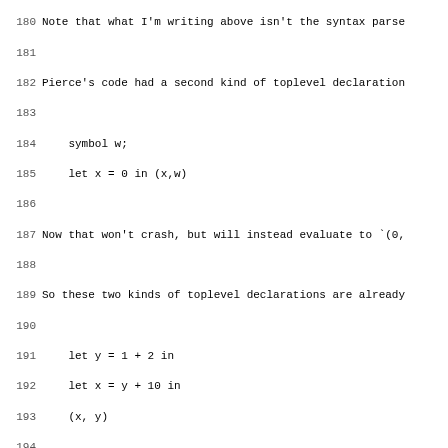180 Note that what I'm writing above isn't the syntax parse
181
182 Pierce's code had a second kind of toplevel declaration
183
184     symbol w;
185     let x = 0 in (x,w)
186
187 Now that won't crash, but will instead evaluate to `(0,
188
189 So these two kinds of toplevel declarations are already
190
191     let y = 1 + 2 in
192     let x = y + 10 in
193     (x, y)
194
195 Okay, that **completes our survey of the complications*
196
197 The VA/reducuction-based interpreter
198 ----------------------------------------
199
200 For one part of the homework, we had you complete a `re
201
202     TermApp(TermApp(TermLambda("x", TermApp(Var "x", Va
203
204 to:
205
206     TermApp(TermApp(TermLambda("w", Var "w"), Var "y"),
207
208 The further reduction, to:
209
210     TermApp(Var "y", ...)
211